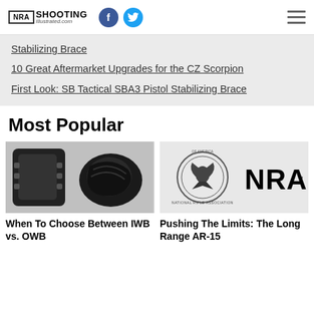NRA Shooting Illustrated .com — Facebook — Twitter — Menu
Stabilizing Brace
10 Great Aftermarket Upgrades for the CZ Scorpion
First Look: SB Tactical SBA3 Pistol Stabilizing Brace
Most Popular
[Figure (photo): Two gun holsters (one Kydex, one leather) on a light gray background]
[Figure (logo): NRA circular seal/eagle logo next to large NRA text]
When To Choose Between IWB vs. OWB
Pushing The Limits: The Long Range AR-15